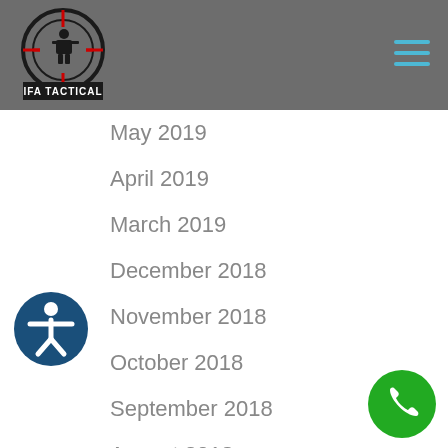[Figure (logo): IFA Tactical logo — circular crosshair sight with soldier silhouette, red crosshair lines, text 'IFA TACTICAL' below in white on black background]
[Figure (other): Hamburger menu icon — three horizontal light blue lines, top right of header]
May 2019
April 2019
March 2019
December 2018
November 2018
October 2018
September 2018
August 2018
July 2018
June 2018
May 2018
[Figure (other): Accessibility icon — dark blue circle with white person/wheelchair accessibility symbol]
[Figure (other): Green phone call button — circular green button with white phone handset icon, bottom right corner]